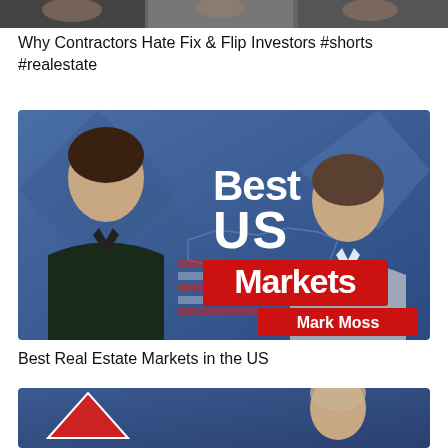[Figure (photo): Partial top strip of a video thumbnail, cropped]
Why Contractors Hate Fix & Flip Investors #shorts #realestate
[Figure (photo): YouTube thumbnail showing two men in suits against a blue background with text 'Best US Markets' and 'Mark Moss']
Best Real Estate Markets in the US
[Figure (photo): Bottom partial thumbnail showing a person and a red triangle graphic on blue background]